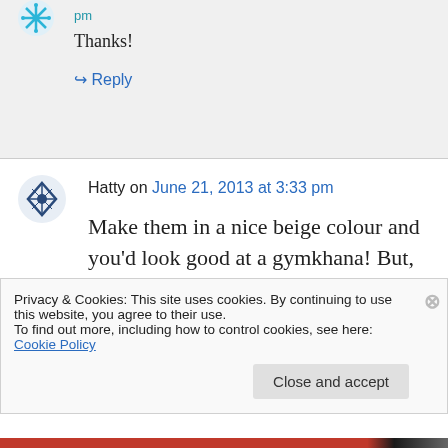pm
Thanks!
↳ Reply
Hatty on June 21, 2013 at 3:33 pm
Make them in a nice beige colour and you'd look good at a gymkhana! But, seriously, young lady, you are going to find them horribly
Privacy & Cookies: This site uses cookies. By continuing to use this website, you agree to their use.
To find out more, including how to control cookies, see here: Cookie Policy
Close and accept